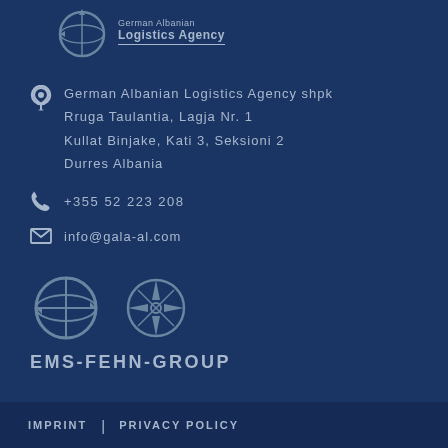[Figure (logo): German Albanian Logistics Agency logo with globe icon and text]
German Albanian Logistics Agency shpk
Rruga Taulantia, Lagja Nr. 1
Kullat Binjake, Kati 3, Seksioni 2
Durres Albania
+355 52 223 208
info@gala-al.com
[Figure (logo): EMS-FEHN-GROUP logos with globe and compass rose icons]
IMPRINT | PRIVACY POLICY